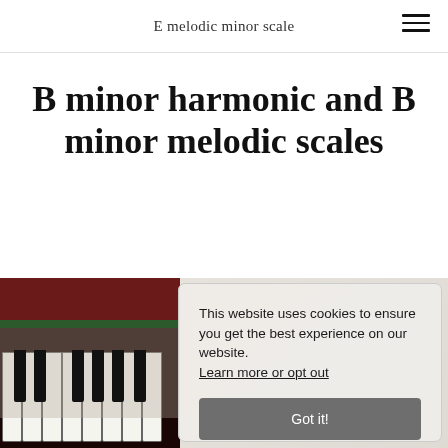E melodic minor scale
B minor harmonic and B minor melodic scales
[Figure (photo): Close-up photograph of a dark-wood upright piano with black and white keys, partially visible.]
This website uses cookies to ensure you get the best experience on our website. Learn more or opt out
Got it!